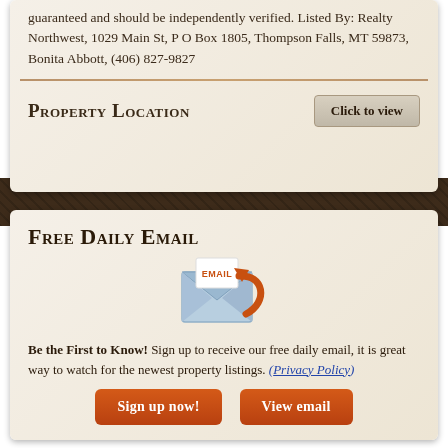guaranteed and should be independently verified. Listed By: Realty Northwest, 1029 Main St, P O Box 1805, Thompson Falls, MT 59873, Bonita Abbott, (406) 827-9827
Property Location
Free Daily Email
[Figure (illustration): Email icon: an envelope with a white paper labeled EMAIL in orange text, with an orange curved arrow swooping around the front]
Be the First to Know! Sign up to receive our free daily email, it is great way to watch for the newest property listings. (Privacy Policy)